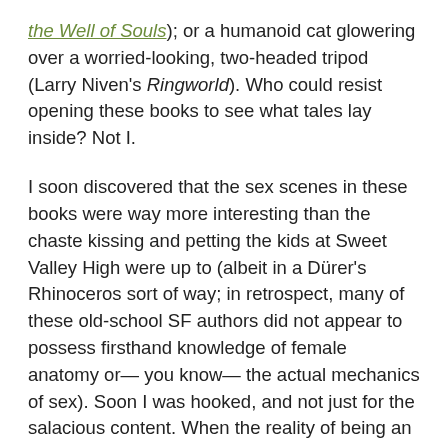the Well of Souls); or a humanoid cat glowering over a worried-looking, two-headed tripod (Larry Niven's Ringworld). Who could resist opening these books to see what tales lay inside? Not I.
I soon discovered that the sex scenes in these books were way more interesting than the chaste kissing and petting the kids at Sweet Valley High were up to (albeit in a Dürer's Rhinoceros sort of way; in retrospect, many of these old-school SF authors did not appear to possess firsthand knowledge of female anatomy or— you know— the actual mechanics of sex). Soon I was hooked, and not just for the salacious content. When the reality of being an introverted, slightly awkward kid attending Catholic school in rural Ontario became unbearable, I'd escape to Arrakis and lose myself in the messianic journey of Maud'Dib, or follow the adventures of a resurrected Richard Burton (the explorer, not the actor) as he searched for the source of the great river on Riverworld.